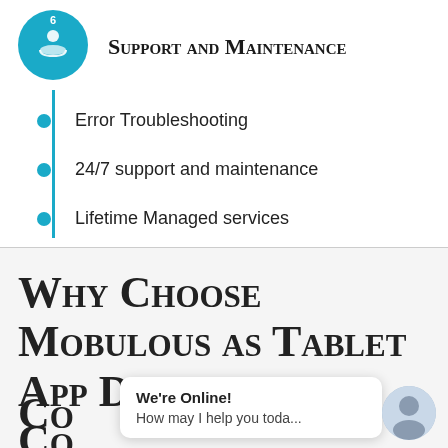Support and Maintenance
Error Troubleshooting
24/7 support and maintenance
Lifetime Managed services
Why Choose Mobulous as Tablet App Development Company
We're Online! How may I help you toda...